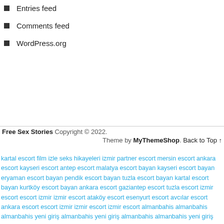Entries feed
Comments feed
WordPress.org
Free Sex Stories Copyright © 2022. Theme by MyThemeShop. Back to Top ↑
kartal escort film izle seks hikayeleri izmir partner escort mersin escort ankara escort kayseri escort antep escort malatya escort bayan kayseri escort bayan eryaman escort bayan pendik escort bayan tuzla escort bayan kartal escort bayan kurtköy escort bayan ankara escort gaziantep escort tuzla escort izmir escort escort izmir izmir escort ataköy escort esenyurt escort avcılar escort ankara escort escort izmir izmir escort izmir escort almanbahis almanbahis almanbahis yeni giriş almanbahis yeni giriş almanbahis almanbahis yeni giriş isveçbahis isveçbahis giriş isveçbahis isveçbahis giriş isveçbahis giriş bahis siteleri bahis siteleri bahis siteleri bahis siteleri bahis siteleri canlı bahis